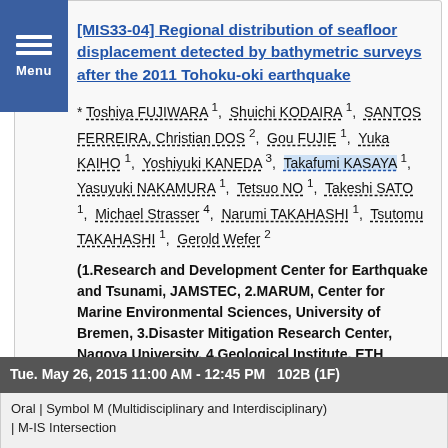9:45 AM - 10:00 AM
[MIS33-04] Regional distribution of seafloor displacement detected by bathymetric surveys after the 2011 Tohoku-oki earthquake
* Toshiya FUJIWARA 1, Shuichi KODAIRA 1, SANTOS FERREIRA, Christian DOS 2, Gou FUJIE 1, Yuka KAIHO 1, Yoshiyuki KANEDA 3, Takafumi KASAYA 1, Yasuyuki NAKAMURA 1, Tetsuo NO 1, Takeshi SATO 1, Michael Strasser 4, Narumi TAKAHASHI 1, Tsutomu TAKAHASHI 1, Gerold Wefer 2
(1.Research and Development Center for Earthquake and Tsunami, JAMSTEC, 2.MARUM, Center for Marine Environmental Sciences, University of Bremen, 3.Disaster Mitigation Research Center, Nagoya University, 4.Geological Institute, ETH Zurich)
Tue. May 26, 2015 11:00 AM - 12:45 PM   102B (1F)
Oral | Symbol M (Multidisciplinary and Interdisciplinary) | M-IS Intersection
[M-IS33] Progress in marine geosciences off...